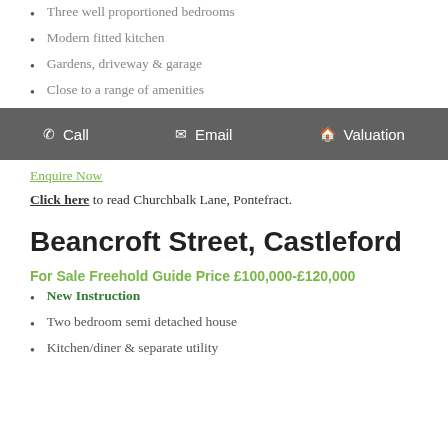Three well proportioned bedrooms
Modern fitted kitchen
Gardens, driveway & garage
Close to a range of amenities
Enquire Now
Click here to read Churchbalk Lane, Pontefract.
Beancroft Street, Castleford
For Sale Freehold Guide Price £100,000-£120,000
New Instruction
Two bedroom semi detached house
Kitchen/diner & separate utility